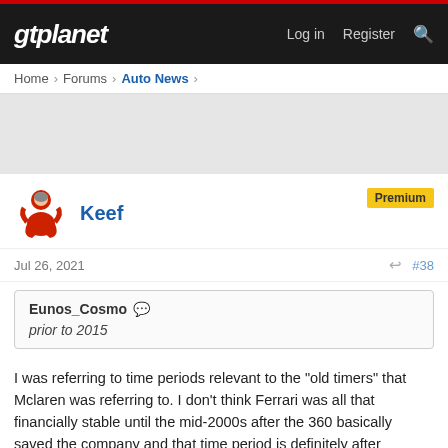gtplanet | Log in | Register
Home › Forums › Auto News ›
[Figure (screenshot): Gray advertisement placeholder area]
Keef
Premium
Jul 26, 2021 #38
Eunos_Cosmo
prior to 2015
I was referring to time periods relevant to the "old timers" that Mclaren was referring to. I don't think Ferrari was all that financially stable until the mid-2000s after the 360 basically saved the company and that time period is definitely after anything that "old timers" reminisce over. Before the 360 era, Ferrari did what Ferrari wanted and besides F1 it wasn't particularly good at any of it. Ferrari sold cars on "passion" back then and passion is not very reliable. The